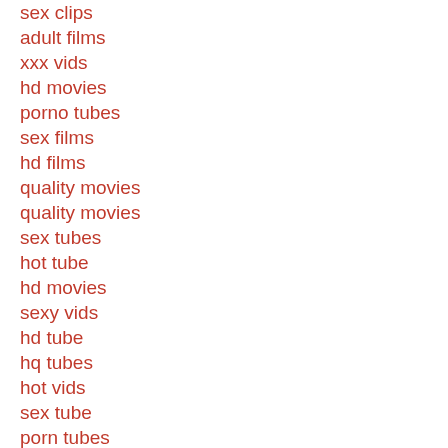sex clips
adult films
xxx vids
hd movies
porno tubes
sex films
hd films
quality movies
quality movies
sex tubes
hot tube
hd movies
sexy vids
hd tube
hq tubes
hot vids
sex tube
porn tubes
hot movies